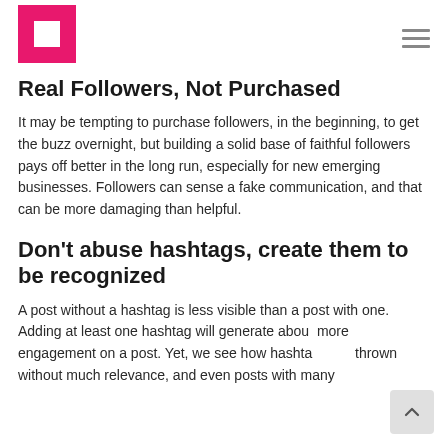[Figure (logo): Pink square logo with white square cutout in the center]
Real Followers, Not Purchased
It may be tempting to purchase followers, in the beginning, to get the buzz overnight, but building a solid base of faithful followers pays off better in the long run, especially for new emerging businesses. Followers can sense a fake communication, and that can be more damaging than helpful.
Don't abuse hashtags, create them to be recognized
A post without a hashtag is less visible than a post with one. Adding at least one hashtag will generate about more engagement on a post. Yet, we see how hashtags are thrown without much relevance, and even posts with many